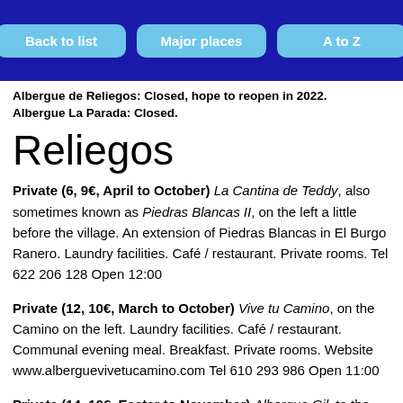Back to list | Major places | A to Z
Albergue de Reliegos: Closed, hope to reopen in 2022. Albergue La Parada: Closed.
Reliegos
Private (6, 9€, April to October) La Cantina de Teddy, also sometimes known as Piedras Blancas II, on the left a little before the village. An extension of Piedras Blancas in El Burgo Ranero. Laundry facilities. Café / restaurant. Private rooms. Tel 622 206 128 Open 12:00
Private (12, 10€, March to October) Vive tu Camino, on the Camino on the left. Laundry facilities. Café / restaurant. Communal evening meal. Breakfast. Private rooms. Website www.alberguevivetucamino.com Tel 610 293 986 Open 11:00
Private (14, 10€, Easter to November) Albergue Gil, to the